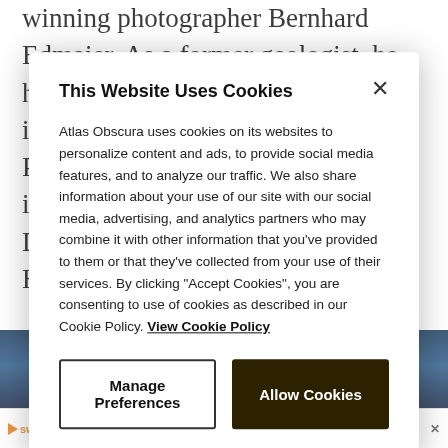winning photographer Bernhard Edmaier. As a former geologist, he has photographed all of its awe-inspiring forms for his book Water. Published by Prestel, with an introduction by writer and geologist Dr. Angelika Jung-H… a…
[Figure (screenshot): Cookie consent modal dialog overlay on Atlas Obscura website. Modal title: 'This Website Uses Cookies'. Body text explains cookie usage. Two buttons: 'Manage Preferences' and 'Allow Cookies'. Background shows article text about photographer Bernhard Edmaier and a dark blue aerial water photo.]
This Website Uses Cookies
Atlas Obscura uses cookies on its websites to personalize content and ads, to provide social media features, and to analyze our traffic. We also share information about your use of our site with our social media, advertising, and analytics partners who may combine it with other information that you've provided to them or that they've collected from your use of their services. By clicking "Accept Cookies", you are consenting to use of cookies as described in our Cookie Policy. View Cookie Policy
Manage Preferences
Allow Cookies